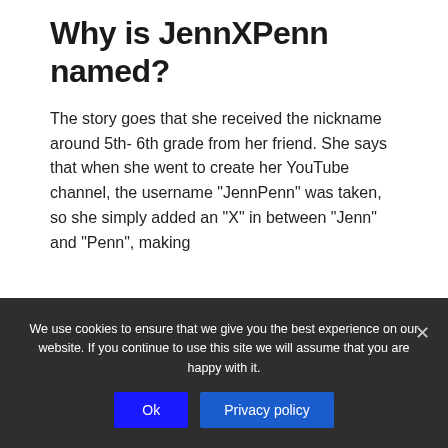Jenn McAllister/Place of birth
Why is JennXPenn named?
The story goes that she received the nickname around 5th- 6th grade from her friend. She says that when she went to create her YouTube channel, the username “JennPenn” was taken, so she simply added an “X” in between “Jenn” and “Penn”, making
We use cookies to ensure that we give you the best experience on our website. If you continue to use this site we will assume that you are happy with it.